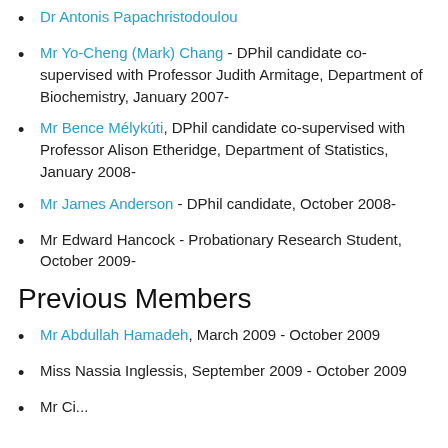Dr Antonis Papachristodoulou
Mr Yo-Cheng (Mark) Chang - DPhil candidate co-supervised with Professor Judith Armitage, Department of Biochemistry, January 2007-
Mr Bence Mélykúti, DPhil candidate co-supervised with Professor Alison Etheridge, Department of Statistics, January 2008-
Mr James Anderson - DPhil candidate, October 2008-
Mr Edward Hancock - Probationary Research Student, October 2009-
Previous Members
Mr Abdullah Hamadeh, March 2009 - October 2009
Miss Nassia Inglessis, September 2009 - October 2009
Mr Ci... April 2009 - July 2009